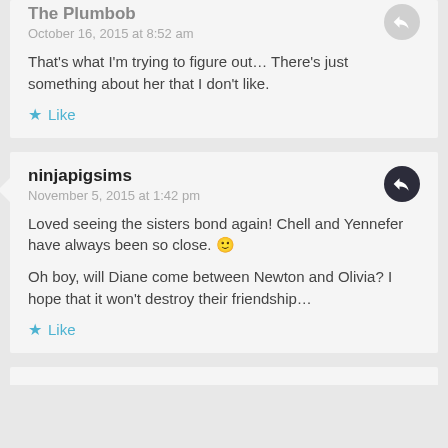The Plumbob
October 16, 2015 at 8:52 am
That's what I'm trying to figure out... There's just something about her that I don't like.
Like
ninjapigsims
November 5, 2015 at 1:42 pm
Loved seeing the sisters bond again! Chell and Yennefer have always been so close. 🙂
Oh boy, will Diane come between Newton and Olivia? I hope that it won't destroy their friendship…
Like